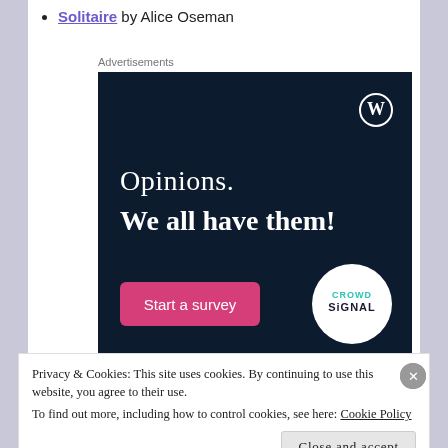Solitaire by Alice Oseman
Advertisements
[Figure (screenshot): Dark navy advertisement banner for WordPress/Crowdsignal. Shows white text 'Opinions. We all have them!' with a WordPress logo top right, a pink 'Start a survey' button bottom left, and Crowdsignal logo bottom right.]
Privacy & Cookies: This site uses cookies. By continuing to use this website, you agree to their use.
To find out more, including how to control cookies, see here: Cookie Policy
Close and accept